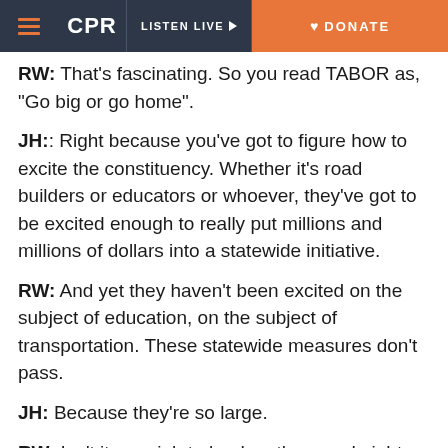CPR | LISTEN LIVE | DONATE
RW: That’s fascinating. So you read TABOR as, “Go big or go home”.
JH:: Right because you’ve got to figure how to excite the constituency. Whether it’s road builders or educators or whoever, they’ve got to be excited enough to really put millions and millions of dollars into a statewide initiative.
RW: And yet they haven’t been excited on the subject of education, on the subject of transportation. These statewide measures don’t pass.
JH: Because they’re so large.
RW: Isn’t it your job to lead on them and eight